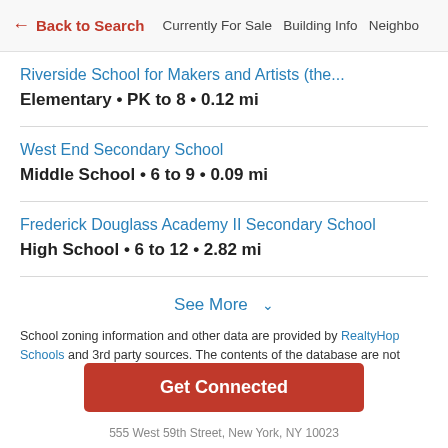← Back to Search   Currently For Sale   Building Info   Neighbo
Riverside School for Makers and Artists (the...
Elementary • PK to 8 • 0.12 mi
West End Secondary School
Middle School • 6 to 9 • 0.09 mi
Frederick Douglass Academy II Secondary School
High School • 6 to 12 • 2.82 mi
See More ∨
School zoning information and other data are provided by RealtyHop Schools and 3rd party sources. The contents of the database are not
Get Connected
555 West 59th Street, New York, NY 10023